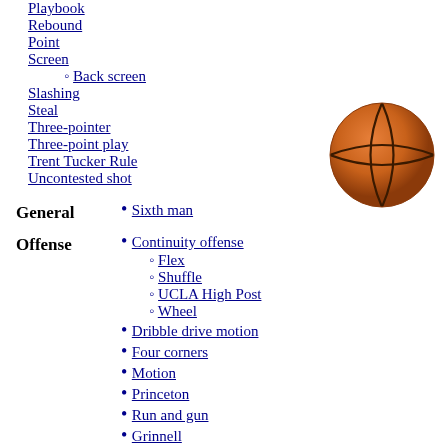Playbook
Rebound
Point
Screen
Back screen
Slashing
Steal
Three-pointer
Three-point play
Trent Tucker Rule
Uncontested shot
[Figure (illustration): Basketball - orange ball with black seam lines]
General
Sixth man
Offense
Continuity offense
Flex
Shuffle
UCLA High Post
Wheel
Dribble drive motion
Four corners
Motion
Princeton
Run and gun
Grinnell